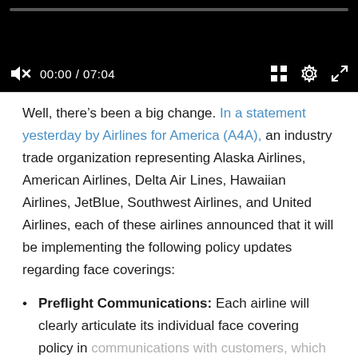[Figure (screenshot): Video player with black background showing progress bar at top, mute icon, time display '00:00 / 07:04', grid icon, settings gear icon, and fullscreen expand icon]
Well, there's been a big change. In a statement yesterday by Airlines for America (A4A), an industry trade organization representing Alaska Airlines, American Airlines, Delta Air Lines, Hawaiian Airlines, JetBlue, Southwest Airlines, and United Airlines, each of these airlines announced that it will be implementing the following policy updates regarding face coverings:
Preflight Communications: Each airline will clearly articulate its individual face covering policy in communications with customers, which may require passengers to acknowledge the specific rules